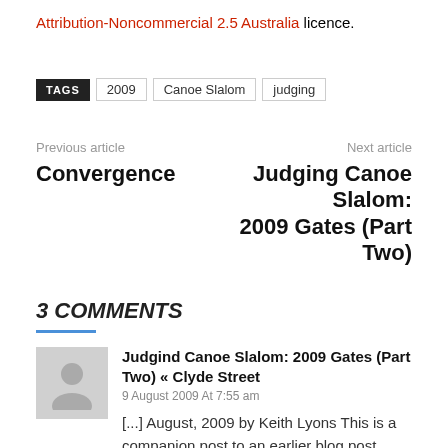Attribution-Noncommercial 2.5 Australia licence.
TAGS  2009  Canoe Slalom  judging
Previous article
Convergence
Next article
Judging Canoe Slalom: 2009 Gates (Part Two)
3 COMMENTS
Judgind Canoe Slalom: 2009 Gates (Part Two) « Clyde Street
9 August 2009 At 7:55 am
[...] August, 2009 by Keith Lyons This is a companion post to an earlier blog post about Judging Canoe Slalom. The video was filmed at the Penrith Whitewater Stadium in July 2009 at [...]